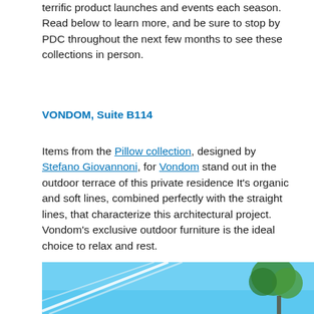terrific product launches and events each season. Read below to learn more, and be sure to stop by PDC throughout the next few months to see these collections in person.
VONDOM, Suite B114
Items from the Pillow collection, designed by Stefano Giovannoni, for Vondom stand out in the outdoor terrace of this private residence It's organic and soft lines, combined perfectly with the straight lines, that characterize this architectural project. Vondom's exclusive outdoor furniture is the ideal choice to relax and rest.
[Figure (photo): Partial outdoor photo showing blue sky and architectural elements with a tree visible, cropped at the bottom of the page]